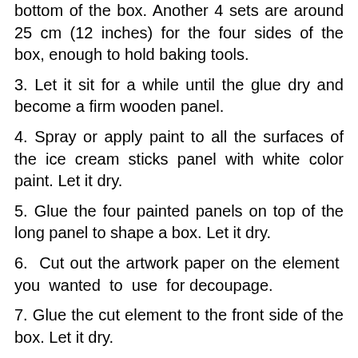bottom of the box. Another 4 sets are around 25 cm (12 inches) for the four sides of the box, enough to hold baking tools.
3. Let it sit for a while until the glue dry and become a firm wooden panel.
4. Spray or apply paint to all the surfaces of the ice cream sticks panel with white color paint. Let it dry.
5. Glue the four painted panels on top of the long panel to shape a box. Let it dry.
6. Cut out the artwork paper on the element you wanted to use for decoupage.
7. Glue the cut element to the front side of the box. Let it dry.
8. Paint the decoupage element with